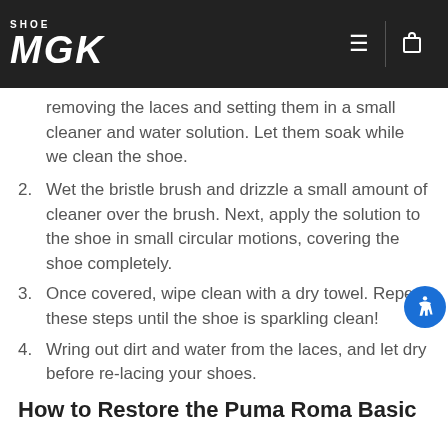SHOE MGK
removing the laces and setting them in a small cleaner and water solution. Let them soak while we clean the shoe.
2. Wet the bristle brush and drizzle a small amount of cleaner over the brush. Next, apply the solution to the shoe in small circular motions, covering the shoe completely.
3. Once covered, wipe clean with a dry towel. Repeat these steps until the shoe is sparkling clean!
4. Wring out dirt and water from the laces, and let dry before re-lacing your shoes.
How to Restore the Puma Roma Basic